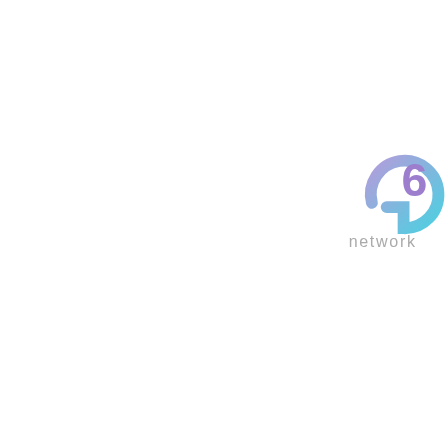[Figure (logo): G6 Network logo — stylized letter G in purple-to-teal gradient with the number 6 in purple, text 'network' below in dark]
[Figure (screenshot): Dark financial chart screenshot showing network traffic or price data with spikes, labeled 'network' at top left, with blue line chart on dark background]
28
Feb
28
Feb
Russian
Rubl